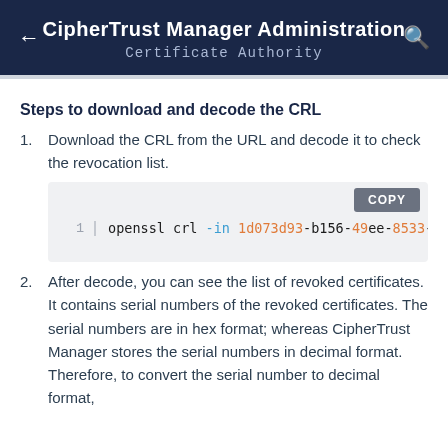CipherTrust Manager Administration
Certificate Authority
Steps to download and decode the CRL
Download the CRL from the URL and decode it to check the revocation list.
[Figure (screenshot): Code block showing: openssl crl -in 1d073d93-b156-49ee-8533-e with a COPY button]
After decode, you can see the list of revoked certificates. It contains serial numbers of the revoked certificates. The serial numbers are in hex format; whereas CipherTrust Manager stores the serial numbers in decimal format. Therefore, to convert the serial number to decimal format,